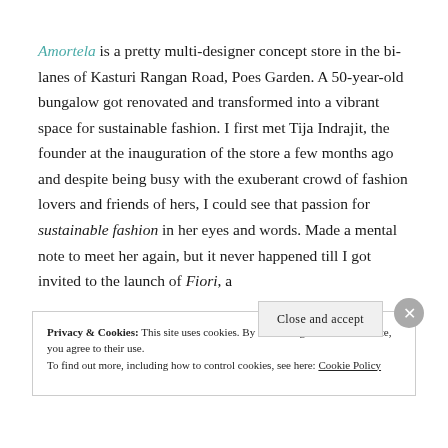Amortela is a pretty multi-designer concept store in the bi-lanes of Kasturi Rangan Road, Poes Garden. A 50-year-old bungalow got renovated and transformed into a vibrant space for sustainable fashion. I first met Tija Indrajit, the founder at the inauguration of the store a few months ago and despite being busy with the exuberant crowd of fashion lovers and friends of hers, I could see that passion for sustainable fashion in her eyes and words. Made a mental note to meet her again, but it never happened till I got invited to the launch of Fiori, a
Privacy & Cookies: This site uses cookies. By continuing to use this website, you agree to their use. To find out more, including how to control cookies, see here: Cookie Policy
Close and accept